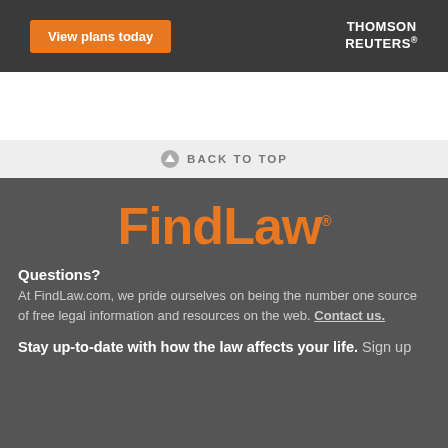[Figure (other): Advertisement banner with dark background showing 'View plans today' orange button and Thomson Reuters logo in white text]
BACK TO TOP
[Figure (logo): FindLaw orange logo with registered trademark symbol on dark grey background]
Questions?
At FindLaw.com, we pride ourselves on being the number one source of free legal information and resources on the web. Contact us.
Stay up-to-date with how the law affects your life. Sign up